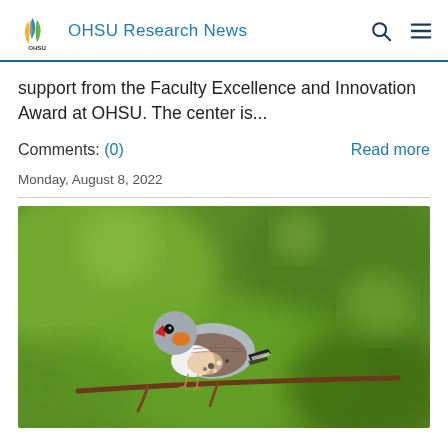OHSU Research News
support from the Faculty Excellence and Innovation Award at OHSU. The center is...
Comments: (0)   Read more
Monday, August 8, 2022
[Figure (photo): A zebra finch bird perched on a branch, with orange cheeks, red beak, grey head, and spotted brown and white plumage, against a blurred green background.]